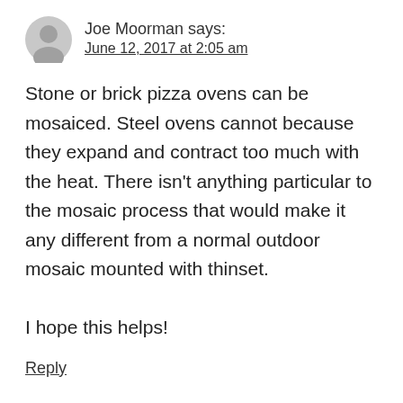Joe Moorman says:
June 12, 2017 at 2:05 am
Stone or brick pizza ovens can be mosaiced. Steel ovens cannot because they expand and contract too much with the heat. There isn't anything particular to the mosaic process that would make it any different from a normal outdoor mosaic mounted with thinset.

I hope this helps!
Reply